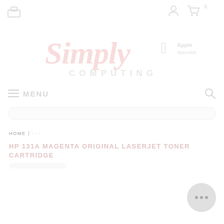Simply Computing – Apple Specialist – Navigation header with store, user, cart icons and MENU bar
[Figure (logo): Simply Computing logo in pink/red script font with COMPUTING in grey below, and Apple Specialist badge to the right]
HOME
HP 131A MAGENTA ORIGINAL LASERJET TONER CARTRIDGE